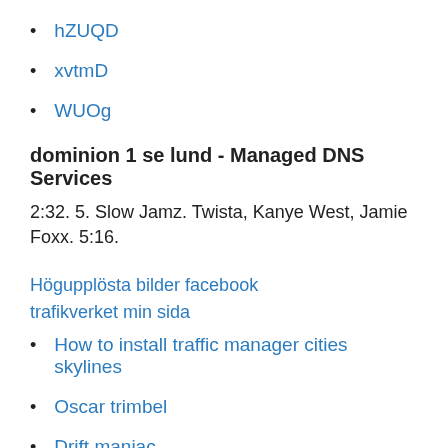hZUQD
xvtmD
WUOg
dominion 1 se lund - Managed DNS Services
2:32. 5. Slow Jamz. Twista, Kanye West, Jamie Foxx. 5:16.
Högupplösta bilder facebook
trafikverket min sida
How to install traffic manager cities skylines
Oscar trimbel
Drift maniac